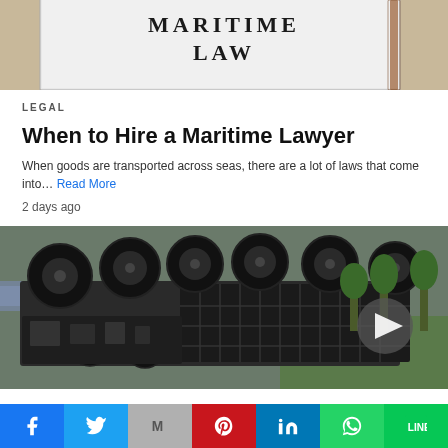[Figure (photo): Close-up of a book or document cover with text MARITIME LAW in large serif letters on a white/gray surface with a pen visible in background]
LEGAL
When to Hire a Maritime Lawyer
When goods are transported across seas, there are a lot of laws that come into… Read More
2 days ago
[Figure (photo): Overturned semi-truck lying on its side on the road, tires and undercarriage visible, with trees and grass in background and a video play button overlay]